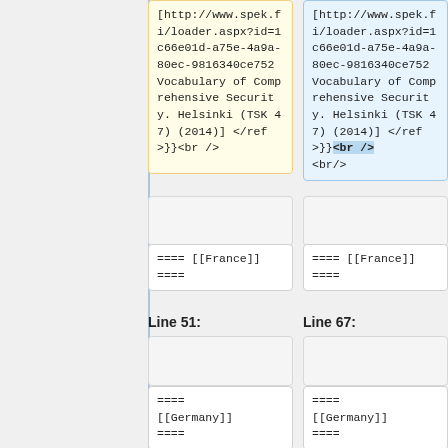[http://www.spek.fi/loader.aspx?id=1c66e01d-a75e-4a9a-80ec-9816340ce752 Vocabulary of Comprehensive Security. Helsinki (TSK 47) (2014)] </ref>}}<br />
[http://www.spek.fi/loader.aspx?id=1c66e01d-a75e-4a9a-80ec-9816340ce752 Vocabulary of Comprehensive Security. Helsinki (TSK 47) (2014)] </ref>}}<br /> <br/>
==== [[France]] ====
==== [[France]] ====
Line 51:
Line 67:
==== [[Germany]] ====
==== [[Germany]] ====